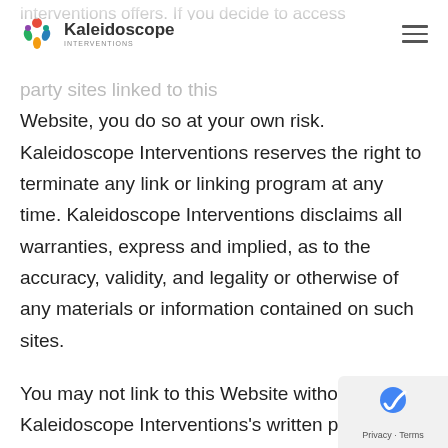Kaleidoscope Interventions
interventions offers. If you decide to access third party sites linked to this Website, you do so at your own risk. Kaleidoscope Interventions reserves the right to terminate any link or linking program at any time. Kaleidoscope Interventions disclaims all warranties, express and implied, as to the accuracy, validity, and legality or otherwise of any materials or information contained on such sites.
You may not link to this Website without Kaleidoscope Interventions's written permission. If you are interested in linking to this Website, please contact us.